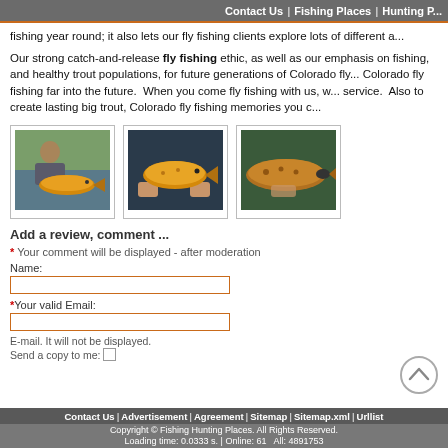Contact Us | Fishing Places | Hunting P...
fishing year round; it also lets our fly fishing clients explore lots of different a...
Our strong catch-and-release fly fishing ethic, as well as our emphasis on fishing, and healthy trout populations, for future generations of Colorado fly... Colorado fly fishing far into the future.  When you come fly fishing with us, w... service.  Also to create lasting big trout, Colorado fly fishing memories you c...
[Figure (photo): Man holding a large golden brown trout near a river]
[Figure (photo): Close-up of a golden trout being held by hands]
[Figure (photo): Brown trout with open mouth being held]
Add a review, comment ...
* Your comment will be displayed - after moderation
Name:
*Your valid Email:
E-mail. It will not be displayed.
Send a copy to me:
Contact Us | Advertisement | Agreement | Sitemap | Sitemap.xml | Urllist
Copyright © Fishing Hunting Places. All Rights Reserved.
Loading time: 0.0333 s. | Online: 61   All: 4891753